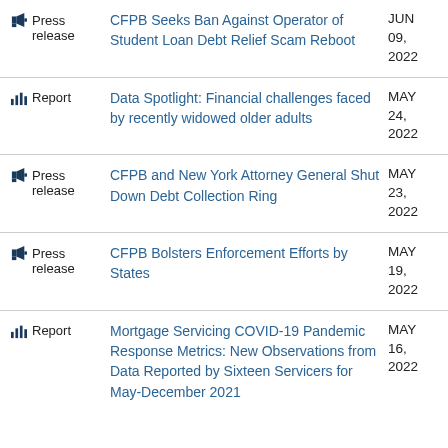CFPB Seeks Ban Against Operator of Student Loan Debt Relief Scam Reboot
Data Spotlight: Financial challenges faced by recently widowed older adults
CFPB and New York Attorney General Shut Down Debt Collection Ring
CFPB Bolsters Enforcement Efforts by States
Mortgage Servicing COVID-19 Pandemic Response Metrics: New Observations from Data Reported by Sixteen Servicers for May-December 2021